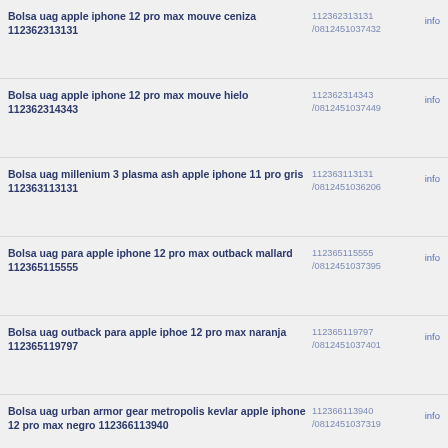Bolsa uag apple iphone 12 pro max mouve ceniza 112362313131
Bolsa uag apple iphone 12 pro max mouve hielo 112362314343
Bolsa uag millenium 3 plasma ash apple iphone 11 pro gris 112363113131
Bolsa uag para apple iphone 12 pro max outback mallard 112365115555
Bolsa uag outback para apple iphoe 12 pro max naranja 112365119797
Bolsa uag urban armor gear metropolis kevlar apple iphone 12 pro max negro 112366113940
Bolsa uag apple iphone 12 pro max